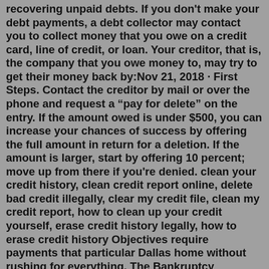recovering unpaid debts. If you don't make your debt payments, a debt collector may contact you to collect money that you owe on a credit card, line of credit, or loan. Your creditor, that is, the company that you owe money to, may try to get their money back by:Nov 21, 2018 · First Steps. Contact the creditor by mail or over the phone and request a "pay for delete" on the entry. If the amount owed is under $500, you can increase your chances of success by offering the full amount in return for a deletion. If the amount is larger, start by offering 10 percent; move up from there if you're denied. clean your credit history, clean credit report online, delete bad credit illegally, clear my credit file, clean my credit report, how to clean up your credit yourself, erase credit history legally, how to erase credit history Objectives require payments that particular Dallas home without rushing for everything. The Bankruptcy Appellate Panel ("BAP") looked at the question narrowly, saying that the credit reporting, "without more, does not violate the automatic stay as a matter of law.". The BAP cited